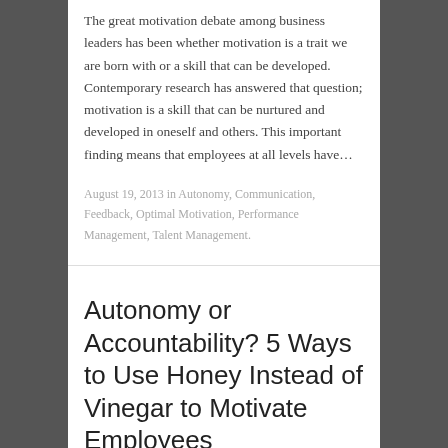The great motivation debate among business leaders has been whether motivation is a trait we are born with or a skill that can be developed. Contemporary research has answered that question; motivation is a skill that can be nurtured and developed in oneself and others. This important finding means that employees at all levels have…
August 19, 2013 in Autonomy, Communication, Feedback, Optimal Motivation, Performance Management, Talent Management.
Autonomy or Accountability? 5 Ways to Use Honey Instead of Vinegar to Motivate Employees
Last week I met with a group of sales managers for a national retailer that is doing very well.  Turnover is low.  Same-store sales have been outpacing their